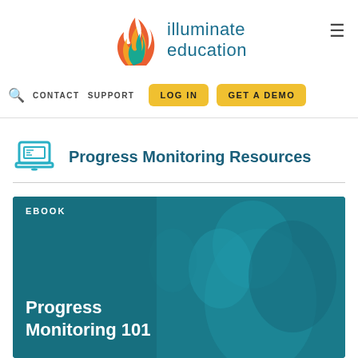[Figure (logo): Illuminate Education logo with flame icon and teal text]
CONTACT   SUPPORT   LOG IN   GET A DEMO
Progress Monitoring Resources
EBOOK
Progress Monitoring 101